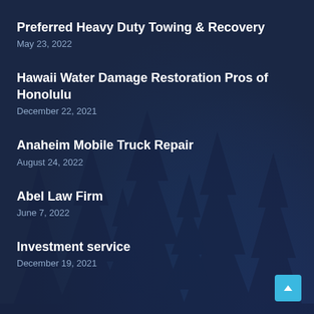Preferred Heavy Duty Towing & Recovery
May 23, 2022
Hawaii Water Damage Restoration Pros of Honolulu
December 22, 2021
Anaheim Mobile Truck Repair
August 24, 2022
Abel Law Firm
June 7, 2022
Investment service
December 19, 2021